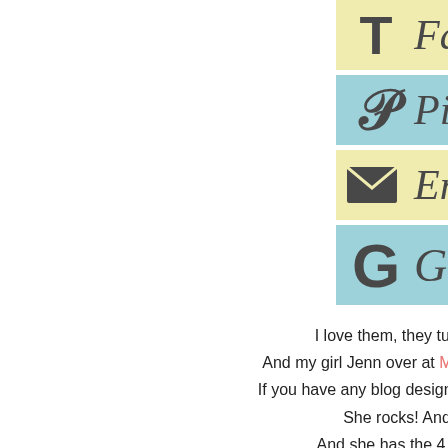[Figure (infographic): Partial view of four social media button bars on the right side of the page. From top to bottom: Facebook (yellow background, T icon), Pinterest (blue background, P icon), Email (yellow background, envelope icon), Google+ (blue background, G icon). Buttons are partially cut off on the right.]
I love them, they turned o... And my girl Jenn over at Munchkin Land... If you have any blog design work that you... She rocks! And is... And she has the 4 cute a... So while im over here complaining about trying to stay a f... work. I dont know how she does it but she do...